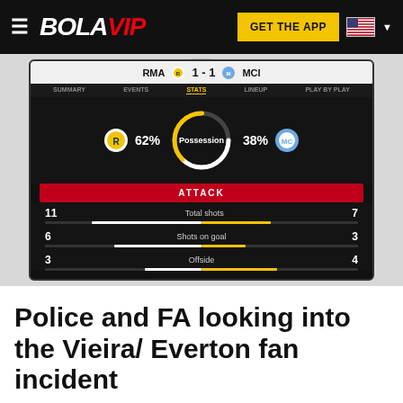BOLAVIP — GET THE APP
[Figure (screenshot): Mobile app screenshot showing RMA 1-1 MCI match stats: Possession 62% vs 38%, Total shots 11 vs 7, Shots on goal 6 vs 3, Offside 3 vs 4]
Police and FA looking into the Vieira/ Everton fan incident